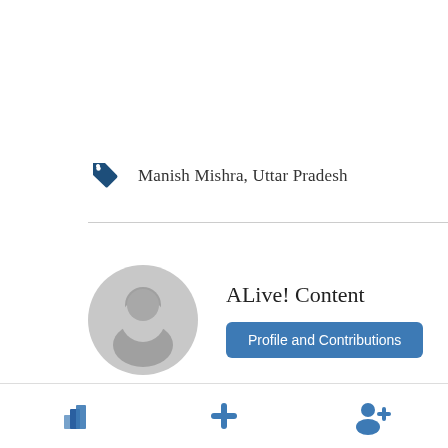Manish Mishra, Uttar Pradesh
ALive! Content
Profile and Contributions
[Figure (illustration): Bottom navigation bar with three icons: home/building icon (blue), plus icon (blue), and add-person icon (blue)]